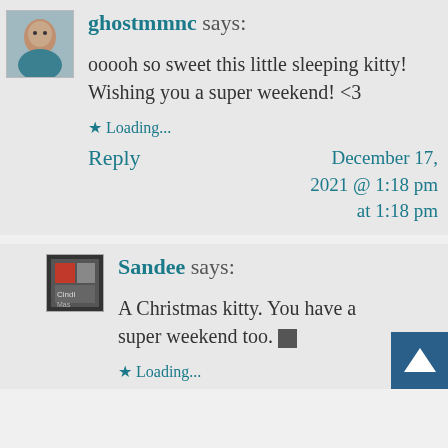[Figure (photo): Small avatar photo of a woman with dark hair, teal clothing]
ghostmmnc says:
ooooh so sweet this little sleeping kitty!
Wishing you a super weekend! <3
★ Loading...
Reply
December 17, 2021 @ 1:18 pm at 1:18 pm
[Figure (photo): Small avatar image with text or illustration, dark tones]
Sandee says:
A Christmas kitty. You have a super weekend too. 🗵
★ Loading...